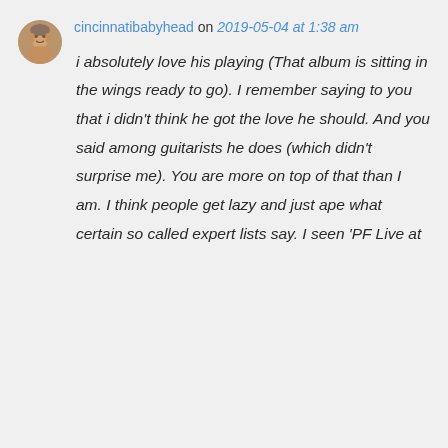cincinnatibabyhead on 2019-05-04 at 1:38 am
i absolutely love his playing (That album is sitting in the wings ready to go). I remember saying to you that i didn't think he got the love he should. And you said among guitarists he does (which didn't surprise me). You are more on top of that than I am. I think people get lazy and just ape what certain so called expert lists say. I seen 'PF Live at